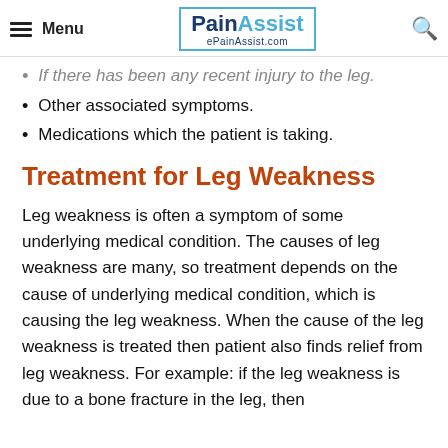Menu | PainAssist ePainAssist.com
If there has been any recent injury to the leg.
Other associated symptoms.
Medications which the patient is taking.
Treatment for Leg Weakness
Leg weakness is often a symptom of some underlying medical condition. The causes of leg weakness are many, so treatment depends on the cause of underlying medical condition, which is causing the leg weakness. When the cause of the leg weakness is treated then patient also finds relief from leg weakness. For example: if the leg weakness is due to a bone fracture in the leg, then